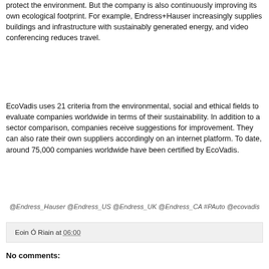protect the environment. But the company is also continuously improving its own ecological footprint. For example, Endress+Hauser increasingly supplies buildings and infrastructure with sustainably generated energy, and video conferencing reduces travel.
EcoVadis uses 21 criteria from the environmental, social and ethical fields to evaluate companies worldwide in terms of their sustainability. In addition to a sector comparison, companies receive suggestions for improvement. They can also rate their own suppliers accordingly on an internet platform. To date, around 75,000 companies worldwide have been certified by EcoVadis.
@Endress_Hauser @Endress_US @Endress_UK @Endress_CA #PAuto @ecovadis
Eoin Ó Riain at 06:00
No comments: